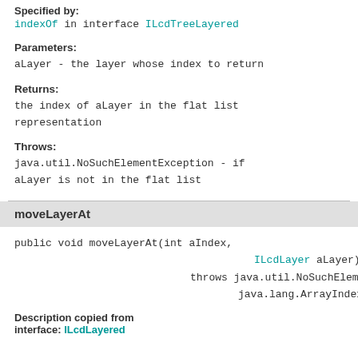Specified by:
indexOf in interface ILcdTreeLayered
Parameters:
aLayer - the layer whose index to return
Returns:
the index of aLayer in the flat list representation
Throws:
java.util.NoSuchElementException - if aLayer is not in the flat list
moveLayerAt
public void moveLayerAt(int aIndex, ILcdLayer aLayer) throws java.util.NoSuchElementException, java.lang.ArrayIndexOutOf
Description copied from interface: ILcdLayered